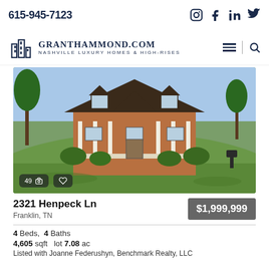615-945-7123
[Figure (logo): GrantHammond.com Nashville Luxury Homes & High-Rises logo with building icon]
[Figure (photo): Exterior photo of a large brick home with white columns, green lawn, and trees. Shows 49 photos button and heart/favorite icon overlay.]
2321 Henpeck Ln
Franklin, TN
$1,999,999
4 Beds,  4 Baths
4,605 sqft  lot 7.08 ac
Listed with Joanne Federushyn, Benchmark Realty, LLC